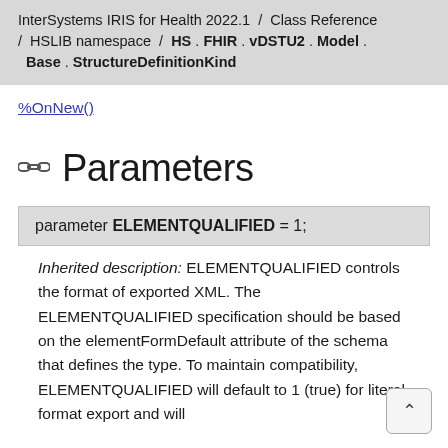InterSystems IRIS for Health 2022.1 / Class Reference / HSLIB namespace / HS . FHIR . vDSTU2 . Model . Base . StructureDefinitionKind
%OnNew()
Parameters
parameter ELEMENTQUALIFIED = 1;
Inherited description: ELEMENTQUALIFIED controls the format of exported XML. The ELEMENTQUALIFIED specification should be based on the elementFormDefault attribute of the schema that defines the type. To maintain compatibility, ELEMENTQUALIFIED will default to 1 (true) for literal format export and will